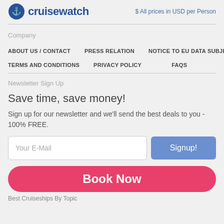cruisewatch  $ All prices in USD per Person
Company
ABOUT US / CONTACT
PRESS RELATION
NOTICE TO EU DATA SUBJECTS
TERMS AND CONDITIONS
PRIVACY POLICY
FAQS
Newsletter Sign Up
Save time, save money!
Sign up for our newsletter and we'll send the best deals to you - 100% FREE.
Your E-Mail  Signup!
Book Now
Best Cruiseships By Topic